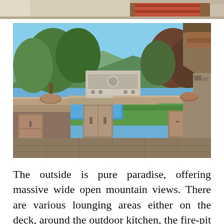[Figure (photo): Partial view of an indoor scene visible at the very top of the page — ceiling and decorative rug, cropped.]
[Figure (photo): Outdoor kitchen area with stainless steel grill on a concrete counter with cabinet doors, surrounded by lush green trees and mountains in the background, with a pool visible in the distance. Blue sky overhead and a Spanish-style tiled roof on the right.]
The outside is pure paradise, offering massive wide open mountain views. There are various lounging areas either on the deck, around the outdoor kitchen, the fire-pit or around the